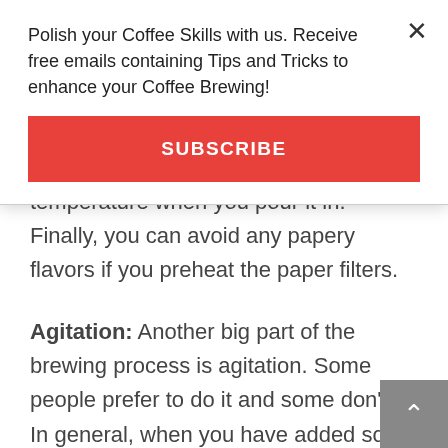Polish your Coffee Skills with us. Receive free emails containing Tips and Tricks to enhance your Coffee Brewing!
SUBSCRIBE
temperature when you pour it in. Finally, you can avoid any papery flavors if you preheat the paper filters.
Agitation: Another big part of the brewing process is agitation. Some people prefer to do it and some don't. In general, when you have added some water during brewing, it's a good idea to agitate the brew, meaning you should try to stir the coffee grounds. This will allow all the